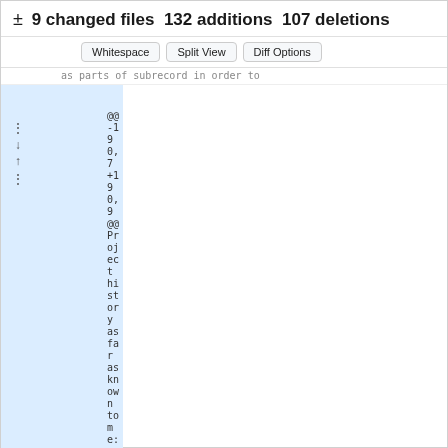± 9 changed files  132 additions  107 deletions
Whitespace | Split View | Diff Options
…as parts of subrecord in order to
| old | new | sign | content |
| --- | --- | --- | --- |
|  |  |  | @@ -190,7 +190,9 @@ Project history as far as known to me: |
| 190 | 190 |  |     by dvd+rw-tools' "poor man" writing facility for this class of media. |
| 191 | 191 |  |     Taking a bow towards Andy Polyakov. |
| 192 | 192 |  |  |
| 193 |  | - | - Upcoming release will cover sequential DVD-RW and DVD-R. |
|  | 193 | + | - 11th February 2007 version 0.3.2 covers sequential DVD-RW and DVD-R with |
|  | 194 | + |    multi-session and with DAO. |
|  | 195 | + |    This means all single layer DVD media except DVD+R are supported now. |
| 194 | 196 |  |  |
| 195 | 197 |  |  |
| 196 | 198 |  | ----------------------------------------... |